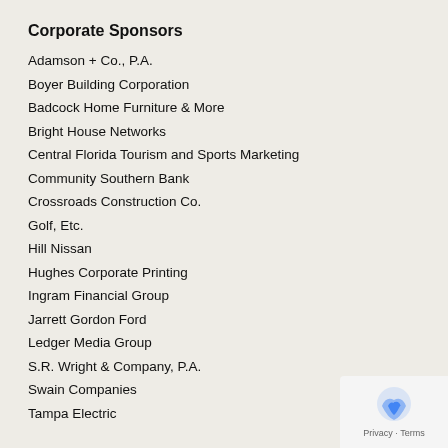Corporate Sponsors
Adamson + Co., P.A.
Boyer Building Corporation
Badcock Home Furniture & More
Bright House Networks
Central Florida Tourism and Sports Marketing
Community Southern Bank
Crossroads Construction Co.
Golf, Etc.
Hill Nissan
Hughes Corporate Printing
Ingram Financial Group
Jarrett Gordon Ford
Ledger Media Group
S.R. Wright & Company, P.A.
Swain Companies
Tampa Electric